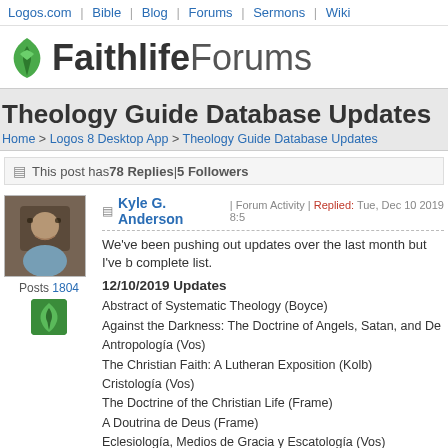Logos.com | Bible | Blog | Forums | Sermons | Wiki
[Figure (logo): Faithlife Forums logo with green leaf icon]
Theology Guide Database Updates
Home > Logos 8 Desktop App > Theology Guide Database Updates
This post has 78 Replies | 5 Followers
Kyle G. Anderson | Forum Activity | Replied: Tue, Dec 10 2019 8:59
We've been pushing out updates over the last month but I've b... complete list.
12/10/2019 Updates
Abstract of Systematic Theology (Boyce)
Against the Darkness: The Doctrine of Angels, Satan, and De...
Antropología (Vos)
The Christian Faith: A Lutheran Exposition (Kolb)
Cristología (Vos)
The Doctrine of the Christian Life (Frame)
A Doutrina de Deus (Frame)
Eclesiología, Medios de Gracia y Escatología (Vos)